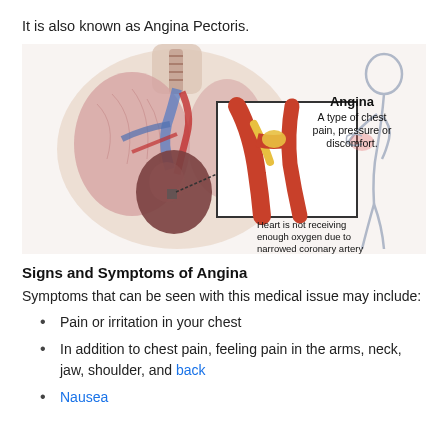It is also known as Angina Pectoris.
[Figure (illustration): Medical illustration of Angina showing a cross-section of the human chest with heart and lungs exposed. An inset box highlights a narrowed coronary artery with yellow plaque buildup. To the right, an outline figure of a person clutching their chest. Labels read: 'Angina - A type of chest pain, pressure or discomfort.' and 'Heart is not receiving enough oxygen due to narrowed coronary artery'.]
Signs and Symptoms of Angina
Symptoms that can be seen with this medical issue may include:
Pain or irritation in your chest
In addition to chest pain, feeling pain in the arms, neck, jaw, shoulder, and back
Nausea